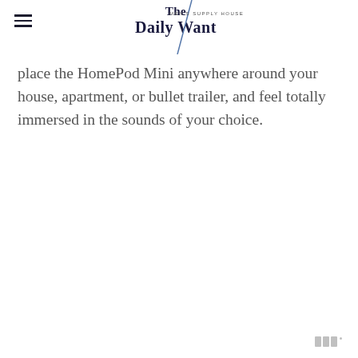The Daily Want | MEN'S SUPPLY HOUSE
place the HomePod Mini anywhere around your house, apartment, or bullet trailer, and feel totally immersed in the sounds of your choice.